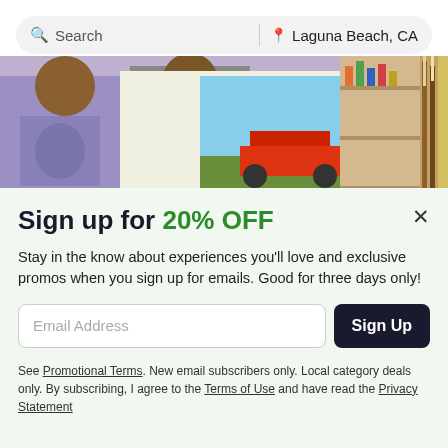[Figure (screenshot): Search bar with magnifying glass icon showing 'Search' placeholder text on the left, a vertical divider, and a location pin icon with 'Laguna Beach, CA' on the right, all inside a rounded pill-shaped input on a light gray background.]
[Figure (photo): Photo strip showing an art class scene: a person in a purple shirt with a logo sits at an easel, another person in a gray t-shirt paints on a canvas showing a red vehicle landscape, with art supplies shelves in the background. Partially visible image of paintbrushes on the right edge.]
Sign up for 20% OFF
Stay in the know about experiences you'll love and exclusive promos when you sign up for emails. Good for three days only!
[Figure (screenshot): Email address input field with placeholder text 'Email Address' and a dark navy 'Sign Up' button to the right.]
See Promotional Terms. New email subscribers only. Local category deals only. By subscribing, I agree to the Terms of Use and have read the Privacy Statement